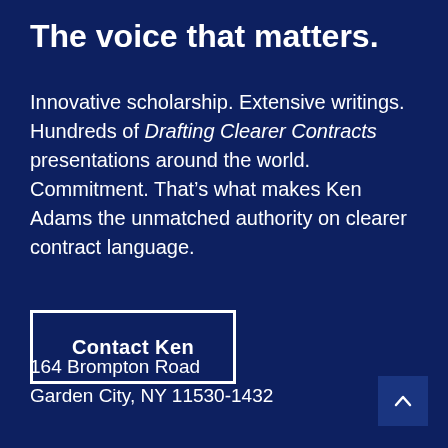The voice that matters.
Innovative scholarship. Extensive writings. Hundreds of Drafting Clearer Contracts presentations around the world. Commitment. That’s what makes Ken Adams the unmatched authority on clearer contract language.
Contact Ken
164 Brompton Road
Garden City, NY 11530-1432